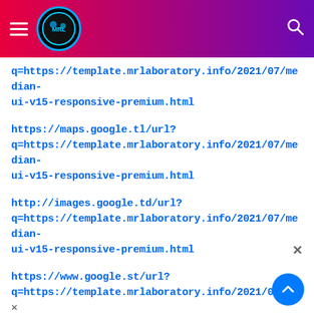[Figure (screenshot): Website header with gradient background (red to purple), hamburger menu icon on the left, circular MR Laboratory logo in the center-left, and a search magnifying glass icon on the right.]
q=https://template.mrlaboratory.info/2021/07/median-ui-v15-responsive-premium.html
https://maps.google.tl/url?q=https://template.mrlaboratory.info/2021/07/median-ui-v15-responsive-premium.html
http://images.google.td/url?q=https://template.mrlaboratory.info/2021/07/median-ui-v15-responsive-premium.html
https://www.google.st/url?q=https://template.mrlaboratory.info/2021/07/me